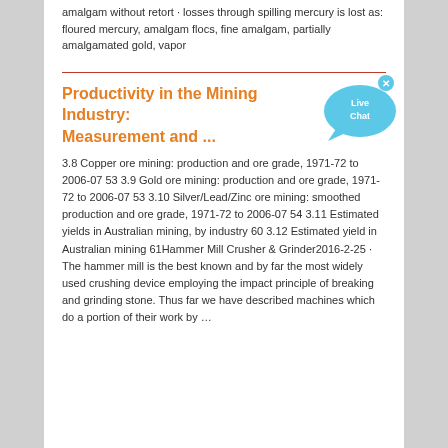amalgam without retort · losses through spilling mercury is lost as: floured mercury, amalgam flocs, fine amalgam, partially amalgamated gold, vapor
Productivity in the Mining Industry: Measurement and ...
3.8 Copper ore mining: production and ore grade, 1971-72 to 2006-07 53 3.9 Gold ore mining: production and ore grade, 1971-72 to 2006-07 53 3.10 Silver/Lead/Zinc ore mining: smoothed production and ore grade, 1971-72 to 2006-07 54 3.11 Estimated yields in Australian mining, by industry 60 3.12 Estimated yield in Australian mining 61Hammer Mill Crusher & Grinder2016-2-25 · The hammer mill is the best known and by far the most widely used crushing device employing the impact principle of breaking and grinding stone. Thus far we have described machines which do a portion of their work by …
[Figure (other): Live Chat button widget — a cyan/blue speech bubble icon with 'Live Chat' text and a small X close button]